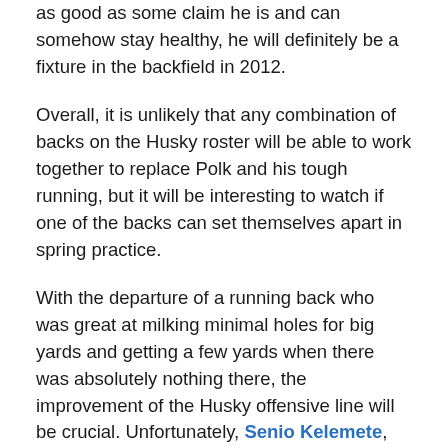as good as some claim he is and can somehow stay healthy, he will definitely be a fixture in the backfield in 2012.
Overall, it is unlikely that any combination of backs on the Husky roster will be able to work together to replace Polk and his tough running, but it will be interesting to watch if one of the backs can set themselves apart in spring practice.
With the departure of a running back who was great at milking minimal holes for big yards and getting a few yards when there was absolutely nothing there, the improvement of the Husky offensive line will be crucial. Unfortunately, Senio Kelemete, who as far and away the Huskies best lineman graduated and pleasant surprise Colin Tanigawa may not see much action, if any, in 2012 due to a knee injury.